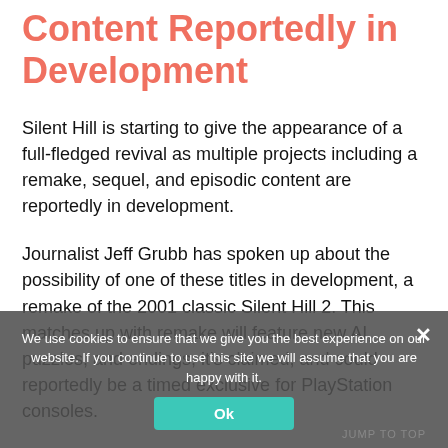Content Reportedly in Development
Silent Hill is starting to give the appearance of a full-fledged revival as multiple projects including a remake, sequel, and episodic content are reportedly in development.
Journalist Jeff Grubb has spoken up about the possibility of one of these titles in development, a remake of the 2001 classic Silent Hill 2. This matches up with remake will feature new AI, puzzles, and endings, it's claimed, and could reportedly be a timed exclusive for PlayStation consoles.
We use cookies to ensure that we give you the best experience on our website. If you continue to use this site we will assume that you are happy with it.
Ok
JUMP TO TOP